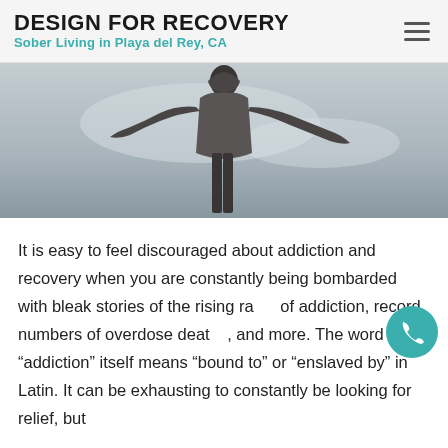DESIGN FOR RECOVERY
Sober Living in Playa del Rey, CA
[Figure (photo): Person with arms outstretched against a grey sky, silhouette of a man in a hoodie with arms open wide]
It is easy to feel discouraged about addiction and recovery when you are constantly being bombarded with bleak stories of the rising rates of addiction, record numbers of overdose deaths, and more. The word “addiction” itself means “bound to” or “enslaved by” in Latin. It can be exhausting to constantly be looking for relief, but